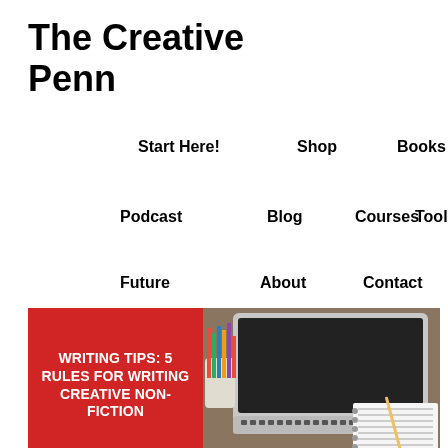The Creative Penn
Start Here!
Shop
Books
Podcast
Blog
Courses
Tools
Future
About
Contact
[Figure (photo): Red panel with white text 'WRITING TIPS: 5 RULES FOR WRITING CREATIVE NON-FICTION' alongside a photo of a laptop with colored pencils and a notebook on a desk]